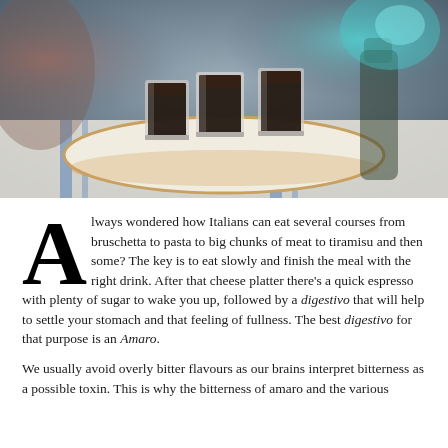[Figure (photo): Three small shot glasses filled with dark liquid (espresso or amaro) sitting on a round white plate/tray on a striped tablecloth. Background is blurred with warm and teal tones.]
Always wondered how Italians can eat several courses from bruschetta to pasta to big chunks of meat to tiramisu and then some? The key is to eat slowly and finish the meal with the right drink. After that cheese platter there's a quick espresso with plenty of sugar to wake you up, followed by a digestivo that will help to settle your stomach and that feeling of fullness. The best digestivo for that purpose is an Amaro.
We usually avoid overly bitter flavours as our brains interpret bitterness as a possible toxin. This is why the bitterness of amaro and the various